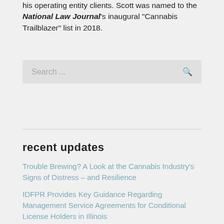his operating entity clients. Scott was named to the National Law Journal's inaugural "Cannabis Trailblazer" list in 2018.
[Figure (other): Search bar with placeholder text 'Search ...' and a magnifying glass icon]
recent updates
Trouble Brewing? A Look at the Cannabis Industry's Signs of Distress – and Resilience
IDFPR Provides Key Guidance Regarding Management Service Agreements for Conditional License Holders in Illinois
Massachusetts Cannabis Industry Reform
stay connected